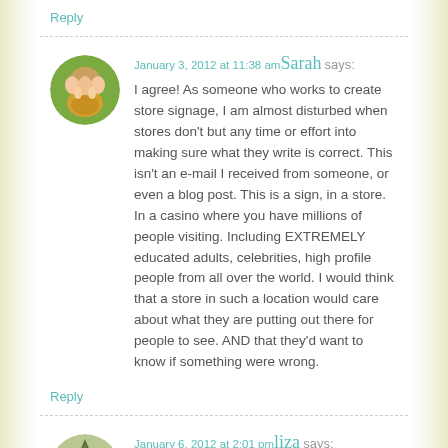Reply
January 3, 2012 at 11:38 am Sarah says:
I agree! As someone who works to create store signage, I am almost disturbed when stores don't but any time or effort into making sure what they write is correct. This isn't an e-mail I received from someone, or even a blog post. This is a sign, in a store. In a casino where you have millions of people visiting. Including EXTREMELY educated adults, celebrities, high profile people from all over the world. I would think that a store in such a location would care about what they are putting out there for people to see. AND that they'd want to know if something were wrong.
Reply
January 6, 2012 at 2:01 pm liza says:
right on jen!